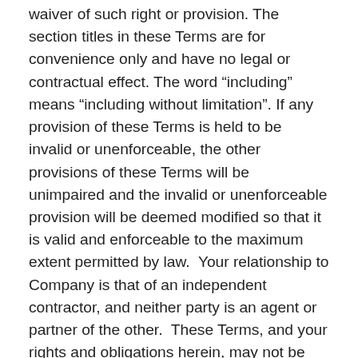waiver of such right or provision. The section titles in these Terms are for convenience only and have no legal or contractual effect. The word "including" means "including without limitation". If any provision of these Terms is held to be invalid or unenforceable, the other provisions of these Terms will be unimpaired and the invalid or unenforceable provision will be deemed modified so that it is valid and enforceable to the maximum extent permitted by law.  Your relationship to Company is that of an independent contractor, and neither party is an agent or partner of the other.  These Terms, and your rights and obligations herein, may not be assigned, subcontracted, delegated, or otherwise transferred by you without Company's prior written consent, and any attempted assignment, subcontract, delegation, or transfer in violation of the foregoing will be null and void.  Company may freely assign these Terms.  The terms and conditions set forth in these Terms shall be